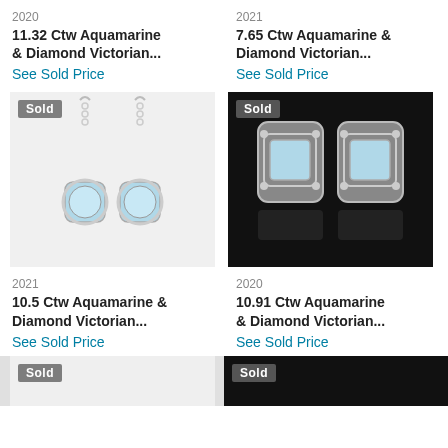2020
11.32 Ctw Aquamarine & Diamond Victorian...
See Sold Price
2021
7.65 Ctw Aquamarine & Diamond Victorian...
See Sold Price
[Figure (photo): Two aquamarine and diamond drop earrings on white background with 'Sold' badge]
[Figure (photo): Two aquamarine and diamond stud earrings on black background with 'Sold' badge]
2021
10.5 Ctw Aquamarine & Diamond Victorian...
See Sold Price
2020
10.91 Ctw Aquamarine & Diamond Victorian...
See Sold Price
[Figure (photo): Earrings on light background with 'Sold' badge (partially visible)]
[Figure (photo): Earrings on black background with 'Sold' badge (partially visible)]